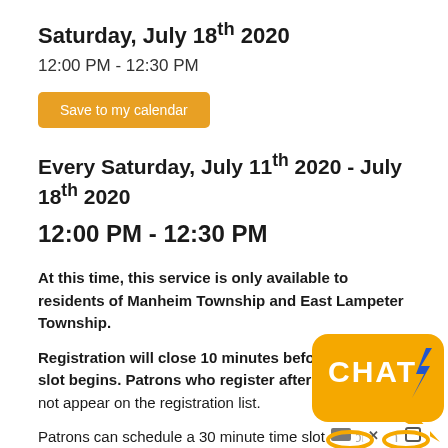Saturday, July 18th 2020
12:00 PM - 12:30 PM
Save to my calendar
Every Saturday, July 11th 2020 - July 18th 2020
12:00 PM - 12:30 PM
At this time, this service is only available to residents of Manheim Township and East Lampeter Township.
Registration will close 10 minutes before the time slot begins. Patrons who register after that time will not appear on the registration list.
Patrons can schedule a 30 minute time slot to come in and
[Figure (other): Chat widget/button with CHAT label and lightning bolt icon, with three small icons at bottom on a yellow/orange rounded rectangle background]